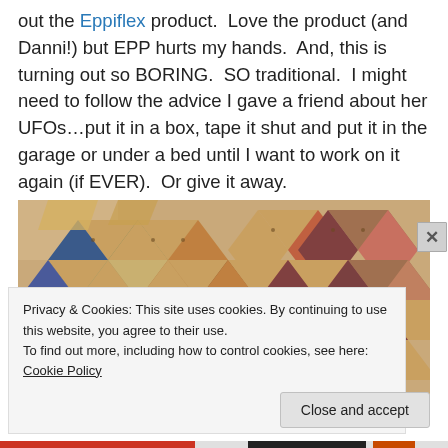out the Eppiflex product.  Love the product (and Danni!) but EPP hurts my hands.  And, this is turning out so BORING.  SO traditional.  I might need to follow the advice I gave a friend about her UFOs…put it in a box, tape it shut and put it in the garage or under a bed until I want to work on it again (if EVER).  Or give it away.
[Figure (photo): Photograph of quilt pieces arranged in a diamond/tumbling block pattern using various fabric prints including tan/brown dotted fabric, blue, green, and red/orange floral fabrics on a light surface.]
Privacy & Cookies: This site uses cookies. By continuing to use this website, you agree to their use.
To find out more, including how to control cookies, see here: Cookie Policy
Close and accept